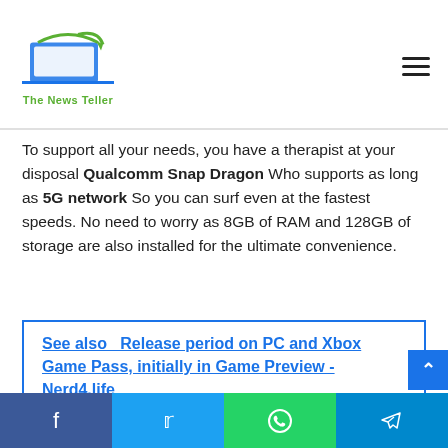The News Teller
To support all your needs, you have a therapist at your disposal Qualcomm Snap Dragon Who supports as long as 5G network So you can surf even at the fastest speeds. No need to worry as 8GB of RAM and 128GB of storage are also installed for the ultimate convenience.
See also  Release period on PC and Xbox Game Pass, initially in Game Preview - Nerd4.life
f  t  (whatsapp icon)  (telegram icon)